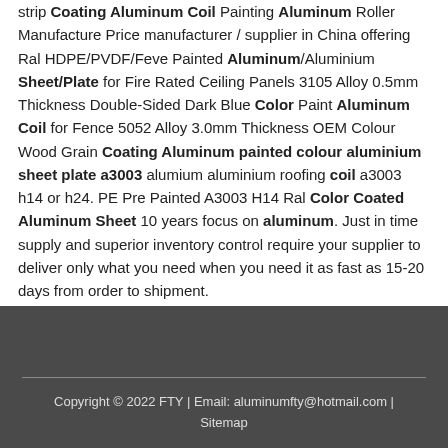strip Coating Aluminum Coil Painting Aluminum Roller Manufacture Price manufacturer / supplier in China offering Ral HDPE/PVDF/Feve Painted Aluminum/Aluminium Sheet/Plate for Fire Rated Ceiling Panels 3105 Alloy 0.5mm Thickness Double-Sided Dark Blue Color Paint Aluminum Coil for Fence 5052 Alloy 3.0mm Thickness OEM Colour Wood Grain Coating Aluminum painted colour aluminium sheet plate a3003 alumium aluminium roofing coil a3003 h14 or h24. PE Pre Painted A3003 H14 Ral Color Coated Aluminum Sheet 10 years focus on aluminum. Just in time supply and superior inventory control require your supplier to deliver only what you need when you need it as fast as 15-20 days from order to shipment.
Copyright © 2022 FTY | Email: aluminumfty@hotmail.com | Sitemap